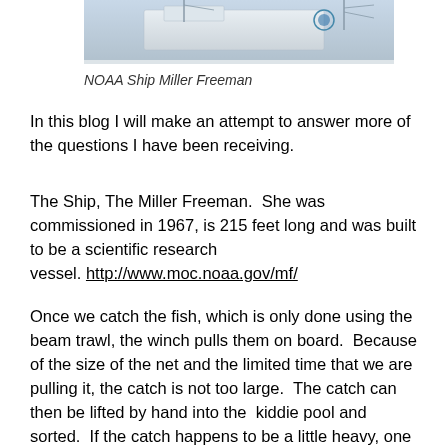[Figure (photo): Partial view of NOAA Ship Miller Freeman — white vessel structure with mast and equipment visible against light sky]
NOAA Ship Miller Freeman
In this blog I will make an attempt to answer more of the questions I have been receiving.
The Ship, The Miller Freeman.  She was commissioned in 1967, is 215 feet long and was built to be a scientific research vessel. http://www.moc.noaa.gov/mf/
Once we catch the fish, which is only done using the beam trawl, the winch pulls them on board.  Because of the size of the net and the limited time that we are pulling it, the catch is not too large.  The catch can then be lifted by hand into the  kiddie pool and sorted.  If the catch happens to be a little heavy, one of the cranes picks it up and dumps it onto the sorting table for all of us to gather around and do our thing.  The juveniles that are of